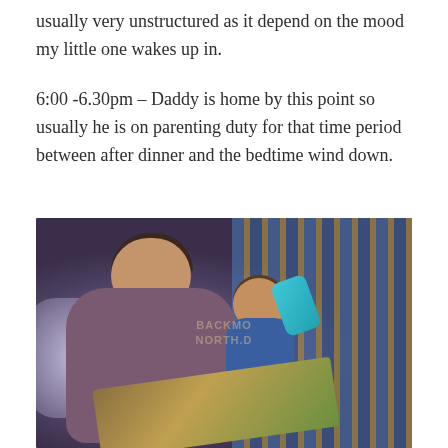usually very unstructured as it depend on the mood my little one wakes up in.
6:00 -6.30pm – Daddy is home by this point so usually he is on parenting duty for that time period between after dinner and the bedtime wind down.
[Figure (photo): A father and toddler sitting together reading a book. The father is wearing a purple/mauve t-shirt and the child is in blue pajamas holding a blue sippy cup. There is a colorful striped background (crib or play area). A book with an illustrated cover is open in front of them. There appears to be a watermark overlay on the image.]